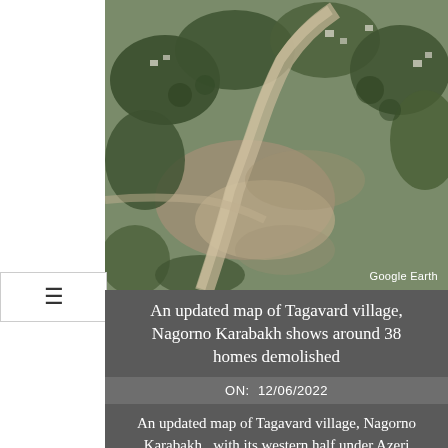[Figure (photo): Satellite aerial photograph of Tagavard village, Nagorno Karabakh, showing terrain with roads, structures, and vegetation. Google Earth watermark visible in bottom right corner.]
An updated map of Tagavard village, Nagorno Karabakh shows around 38 homes demolished
ON:  12/06/2022
An updated map of Tagavard village, Nagorno Karabakh,  with its western half under Azeri military control and  eastern under Karabakhi since the 2020 ceasefire, shows around 38 homes demolished.  According to Sentinel Hub maps, the Azeri side demolished the homes between 2 and 12 July 2021. Military positions dividing the